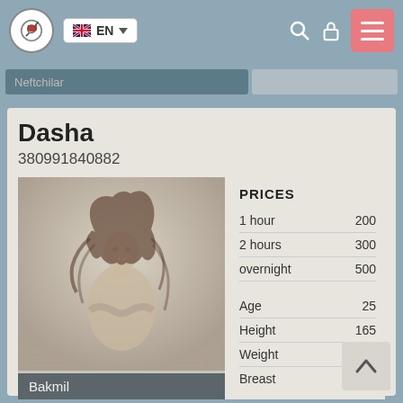EN  Neftchilar
Dasha
380991840882
[Figure (photo): Sepia-toned photo of a woman with long wavy hair, posing with arms crossed, looking down.]
Bakmil
| PRICES |  |
| --- | --- |
| 1 hour | 200 |
| 2 hours | 300 |
| overnight | 500 |
| Age | 25 |
| Height | 165 |
| Weight | 52 |
| Breast | 1 |